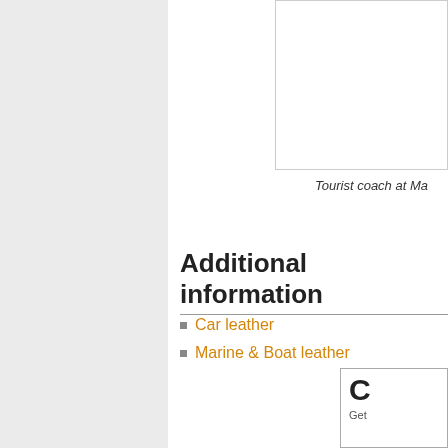[Figure (photo): Partial view of a tourist coach photo, cropped at top and right edges]
Tourist coach at Ma
Additional information
Car leather
Marine & Boat leather
[Figure (other): Partial contact box with large 'C' letter and text 'Get']